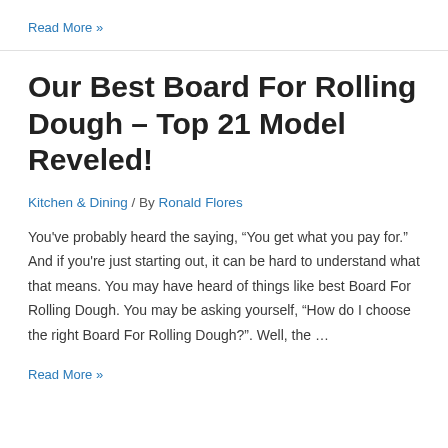Read More »
Our Best Board For Rolling Dough – Top 21 Model Reveled!
Kitchen & Dining / By Ronald Flores
You've probably heard the saying, “You get what you pay for.” And if you're just starting out, it can be hard to understand what that means. You may have heard of things like best Board For Rolling Dough. You may be asking yourself, “How do I choose the right Board For Rolling Dough?”. Well, the …
Read More »